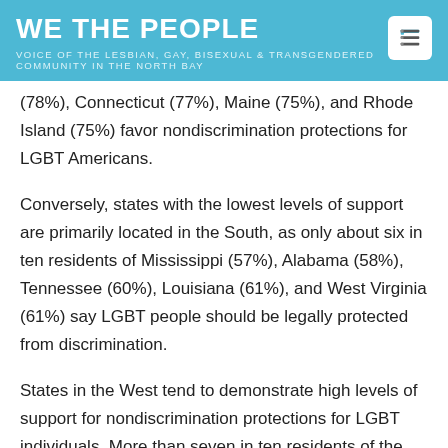WE THE PEOPLE
VOICE OF THE LESBIAN, GAY, BISEXUAL & TRANSGENDERED COMMUNITY IN THE NORTH BAY
(78%), Connecticut (77%), Maine (75%), and Rhode Island (75%) favor nondiscrimination protections for LGBT Americans.
Conversely, states with the lowest levels of support are primarily located in the South, as only about six in ten residents of Mississippi (57%), Alabama (58%), Tennessee (60%), Louisiana (61%), and West Virginia (61%) say LGBT people should be legally protected from discrimination.
States in the West tend to demonstrate high levels of support for nondiscrimination protections for LGBT individuals. More than seven in ten residents of the Western U.S.—including Washington (73%), California (73%), Nevada (73%), Arizona (73%), and Oregon (72%)—favor